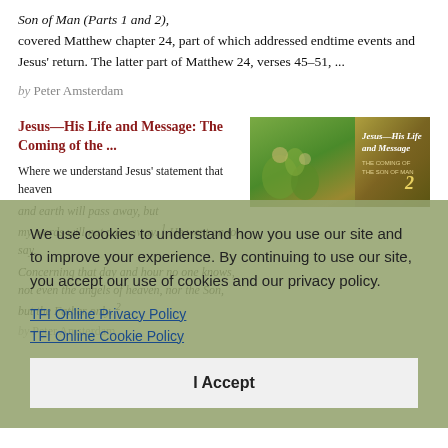Son of Man (Parts 1 and 2), covered Matthew chapter 24, part of which addressed endtime events and Jesus' return. The latter part of Matthew 24, verses 45–51, ...
by Peter Amsterdam
Jesus—His Life and Message: The Coming of the ...
[Figure (illustration): Book cover image for Jesus—His Life and Message: The Coming of the Son of Man 2, featuring illustrated biblical scene with green tones and gold text overlay]
Where we understand Jesus' statement that heaven and earth will pass away, but my words will not pass away.¹ He went on to say,
Concerning that day and hour no one knows, not even the angels of heaven, nor the Son, but the Father only.² ...
by Peter Amsterdam
We use cookies to understand how you use our site and to improve your experience. By continuing to use our site, you accept our use of cookies and our privacy policy.
TFI Online Privacy Policy
TFI Online Cookie Policy
I Accept